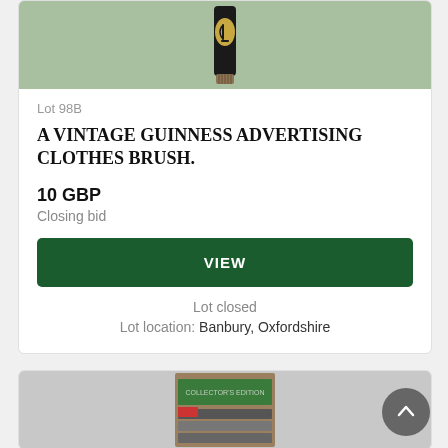[Figure (photo): Guinness advertising clothes brush - black elongated brush with gold Guinness harp label, photographed against green background]
Lot 98B
A VINTAGE GUINNESS ADVERTISING CLOTHES BRUSH.
10 GBP
Closing bid
VIEW
Lot closed
Lot location: Banbury, Oxfordshire
[Figure (photo): Box containing what appears to be books or publications with a green cover, photographed from above]